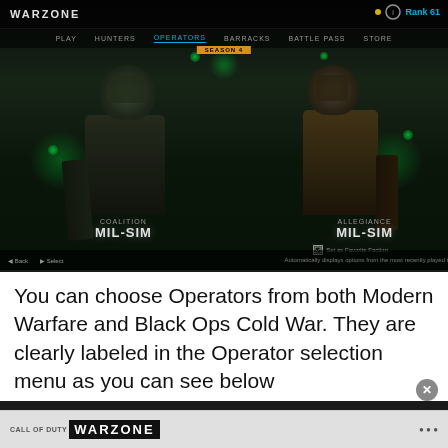[Figure (screenshot): Screenshot of Call of Duty Warzone Operator selection menu showing two MIL-SIM operators — one labeled COALITION MIL-SIM (left) and one labeled ALLEGIANCE MIL-SIM (right) — against a dark green-tinted background with glowing lights. Top bar shows WARZONE logo and Rank 61. Navigation bar visible. Set as Favorite Faction checkbox visible near right operator.]
You can choose Operators from both Modern Warfare and Black Ops Cold War. They are clearly labeled in the Operator selection menu as you can see below
WARZONE